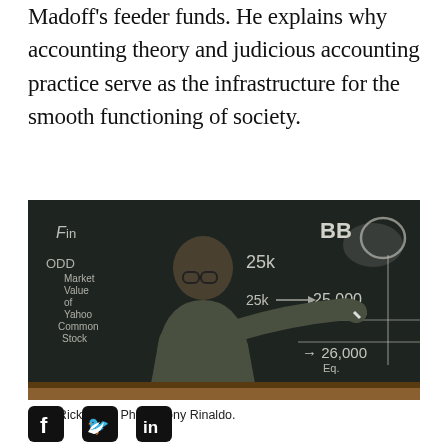Madoff's feeder funds. He explains why accounting theory and judicious accounting practice serve as the infrastructure for the smooth functioning of society.
[Figure (photo): Professor Rick Antle standing in front of a blackboard with accounting equations written in chalk, including terms like 'Fin', 'ODD', 'Market Value of Yahoo Common Stock', 'MS', 'Cash', '25k', 'BB', '25,000', '1,000', '26,000', 'Eq'. He is pointing to the right side of the board.]
Prof. Rick Antle. Photo: Tony Rinaldo.
[Figure (other): Social media icons: Facebook, Twitter, LinkedIn]